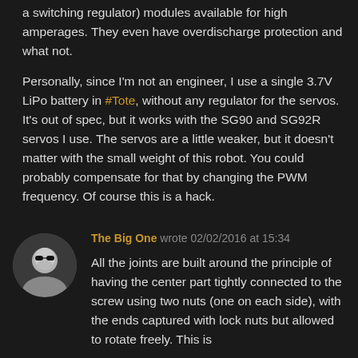a switching regulator) modules available for high amperages. They even have overdischarge protection and what not.
Personally, since I'm not an engineer, I use a single 3.7V LiPo battery in #Tote, without any regulator for the servos. It's out of spec, but it works with the SG90 and SG92R servos I use. The servos are a little weaker, but it doesn't matter with the small weight of this robot. You could probably compensate for that by changing the PWM frequency. Of course this is a hack.
[Figure (photo): Circular avatar photo of user 'The Big One' showing a person wearing sunglasses, black and white style]
The Big One wrote 02/02/2016 at 15:34
All the joints are built around the principle of having the center part tightly connected to the screw using two nuts (one on each side), with the ends captured with lock nuts but allowed to rotate freely. This is